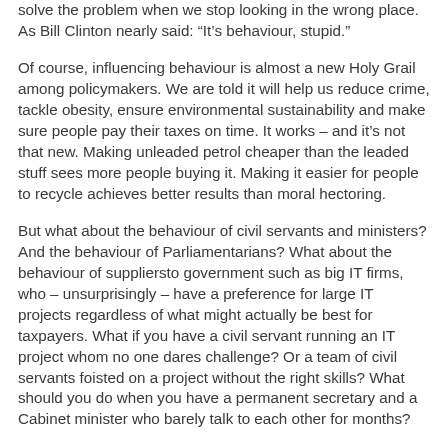solve the problem when we stop looking in the wrong place. As Bill Clinton nearly said: “It’s behaviour, stupid.”
Of course, influencing behaviour is almost a new Holy Grail among policymakers. We are told it will help us reduce crime, tackle obesity, ensure environmental sustainability and make sure people pay their taxes on time. It works – and it’s not that new. Making unleaded petrol cheaper than the leaded stuff sees more people buying it. Making it easier for people to recycle achieves better results than moral hectoring.
But what about the behaviour of civil servants and ministers? And the behaviour of Parliamentarians? What about the behaviour of suppliersto government such as big IT firms, who – unsurprisingly – have a preference for large IT projects regardless of what might actually be best for taxpayers. What if you have a civil servant running an IT project whom no one dares challenge? Or a team of civil servants foisted on a project without the right skills? What should you do when you have a permanent secretary and a Cabinet minister who barely talk to each other for months? As recently as yesterday I read in The Guardian that Prime